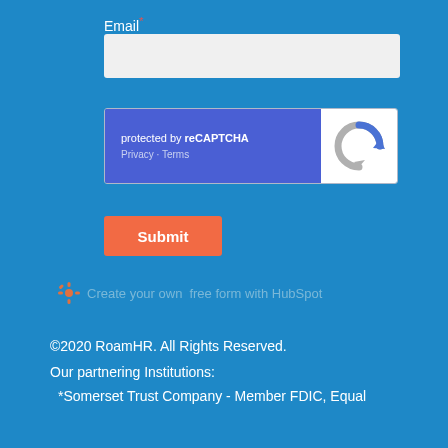Email*
[Figure (screenshot): reCAPTCHA widget with blue background on the left showing 'protected by reCAPTCHA' and 'Privacy - Terms', and white background on the right with the reCAPTCHA logo (circular arrows icon)]
[Figure (other): Orange Submit button]
Create your own free form with HubSpot
©2020 RoamHR. All Rights Reserved.

Our partnering Institutions:

*Somerset Trust Company - Member FDIC, Equal